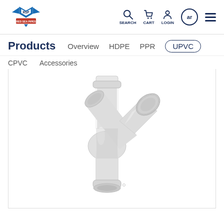RSP Red Sea Pipes — SEARCH CART LOGIN ar menu
Products  Overview  HDPE  PPR  UPVC
CPVC  Accessories
[Figure (photo): White UPVC Y-junction pipe fitting (45-degree wye connector) on white background. The fitting has three openings: one vertical top inlet, one angled side outlet pointing to the upper right, and one bottom outlet.]